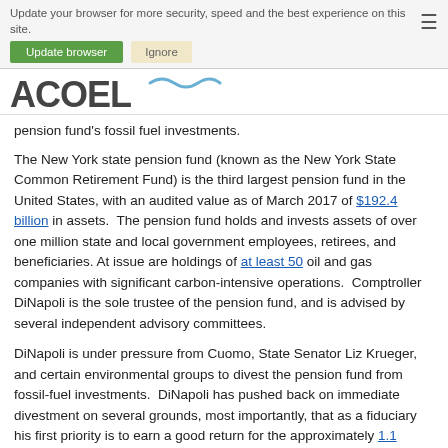Update your browser for more security, speed and the best experience on this site. [Update browser] [Ignore]
[Figure (logo): ACOEL logo with wave graphic]
pension fund's fossil fuel investments.
The New York state pension fund (known as the New York State Common Retirement Fund) is the third largest pension fund in the United States, with an audited value as of March 2017 of $192.4 billion in assets. The pension fund holds and invests assets of over one million state and local government employees, retirees, and beneficiaries. At issue are holdings of at least 50 oil and gas companies with significant carbon-intensive operations. Comptroller DiNapoli is the sole trustee of the pension fund, and is advised by several independent advisory committees.
DiNapoli is under pressure from Cuomo, State Senator Liz Krueger, and certain environmental groups to divest the pension fund from fossil-fuel investments. DiNapoli has pushed back on immediate divestment on several grounds, most importantly, that as a fiduciary his first priority is to earn a good return for the approximately 1.1 million New Yorkers who rely on the state pension system for their retirement security. While recognizing that the effects of climate change represent a systemic risk to the returns of the pension fund, the economy and the welfare of the people of the State, DiNapoli believes that he can be more effective in managing those systemic climate change risks by the use of the significant